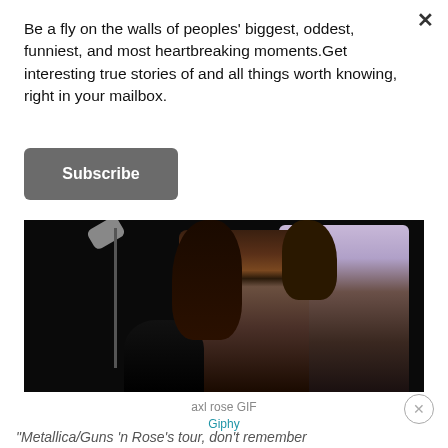Be a fly on the walls of peoples' biggest, oddest, funniest, and most heartbreaking moments.Get interesting true stories of and all things worth knowing, right in your mailbox.
Subscribe
[Figure (photo): Concert/stage photo showing performers with long hair, a microphone stand, dark background, one person in a graphic t-shirt and another in light purple/white top]
axl rose GIF
Giphy
"Metallica/Guns 'n Rose's tour, don't remember